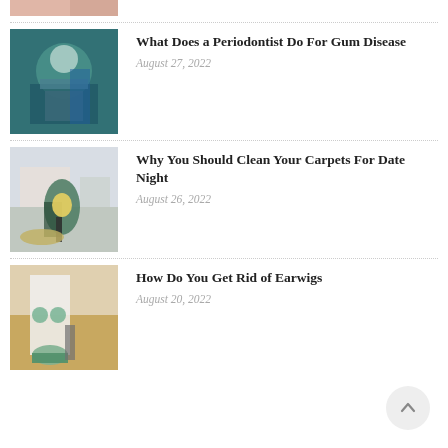[Figure (photo): Partial top image, cropped, showing skin tones]
[Figure (photo): Dental/medical professional in surgical gown and mask performing a procedure]
What Does a Periodontist Do For Gum Disease
August 27, 2022
[Figure (photo): Woman vacuuming carpet in a living room with a yellow vacuum cleaner]
Why You Should Clean Your Carpets For Date Night
August 26, 2022
[Figure (photo): Person in white protective suit and green gloves spraying pesticide on floor]
How Do You Get Rid of Earwigs
August 20, 2022